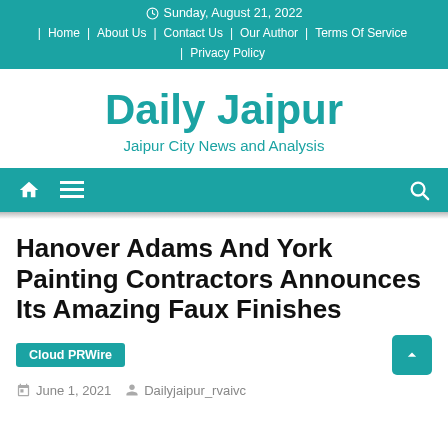Sunday, August 21, 2022 | Home | About Us | Contact Us | Our Author | Terms Of Service | Privacy Policy
Daily Jaipur
Jaipur City News and Analysis
Hanover Adams And York Painting Contractors Announces Its Amazing Faux Finishes
Cloud PRWire
June 1, 2021   Dailyjaipur_rvaivc